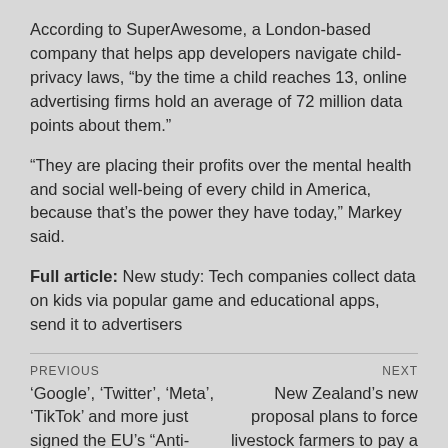According to SuperAwesome, a London-based company that helps app developers navigate child-privacy laws, “by the time a child reaches 13, online advertising firms hold an average of 72 million data points about them.”
“They are placing their profits over the mental health and social well-being of every child in America, because that’s the power they have today,” Markey said.
Full article: New study: Tech companies collect data on kids via popular game and educational apps, send it to advertisers
PREVIOUS
NEXT
‘Google’, ‘Twitter’, ‘Meta’, ‘TikTok’ and more just signed the EU’s “Anti-disinformation” code
New Zealand’s new proposal plans to force livestock farmers to pay a climate tax for their cattle and sheep, which